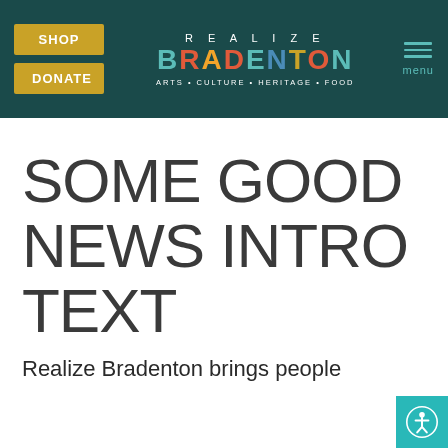SHOP | DONATE | REALIZE BRADENTON | ARTS · CULTURE · HERITAGE · FOOD | menu
SOME GOOD NEWS INTRO TEXT
Realize Bradenton brings people